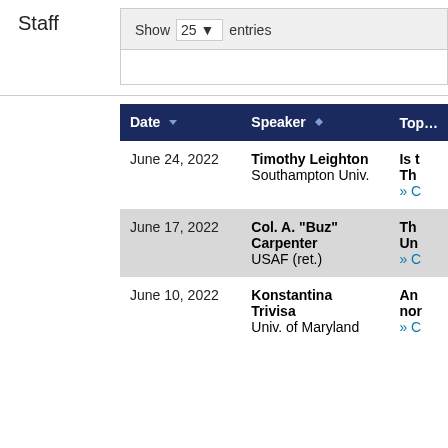Staff
Show 25 entries
| Date | Speaker | Top… |
| --- | --- | --- |
| June 24, 2022 | Timothy Leighton
Southampton Univ. | Is t
Th
» C |
| June 17, 2022 | Col. A. "Buz" Carpenter
USAF (ret.) | Th
Un
» C |
| June 10, 2022 | Konstantina Trivisa
Univ. of Maryland | An
nor
» C |